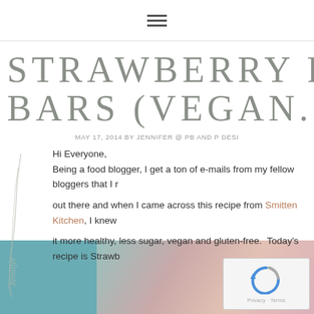≡ (hamburger menu icon)
STRAWBERRY RHU... BARS (VEGAN. GLU...
MAY 17, 2014 BY JENNIFER @ PB AND P DESI...
Hi Everyone,
Being a food blogger, I get a ton of e-mails from my fellow bloggers that I r... out there and when I came across this recipe from Smitten Kitchen, I knew it more healthy, less sugar, vegan and gluten-free. Today's recipe is Strawb...
[Figure (photo): Blurred photo of strawberry rhubarb bars on a teal/blue background with pink and coral tones, with a reCAPTCHA widget overlaid in the bottom right corner.]